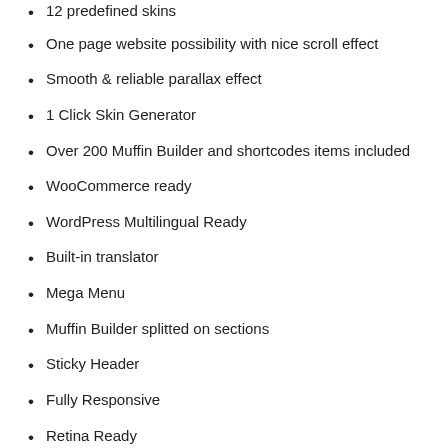12 predefined skins
One page website possibility with nice scroll effect
Smooth & reliable parallax effect
1 Click Skin Generator
Over 200 Muffin Builder and shortcodes items included
WooCommerce ready
WordPress Multilingual Ready
Built-in translator
Mega Menu
Muffin Builder splitted on sections
Sticky Header
Fully Responsive
Retina Ready